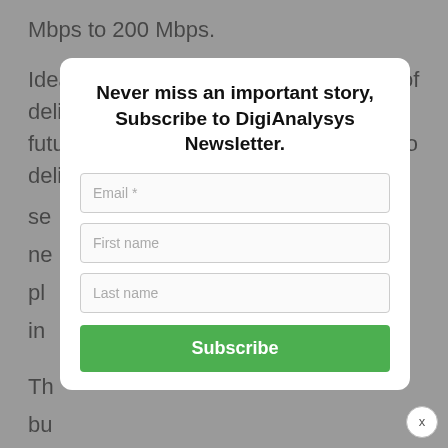Mbps to 200 Mbps.
Idea Cellular FTTH service is capable of delivering upto 1 Gbps speeds in near future and the service is fully scalable to deliver multi-play product and services...
Never miss an important story, Subscribe to DigiAnalysys Newsletter.
Email *
First name
Last name
Subscribe